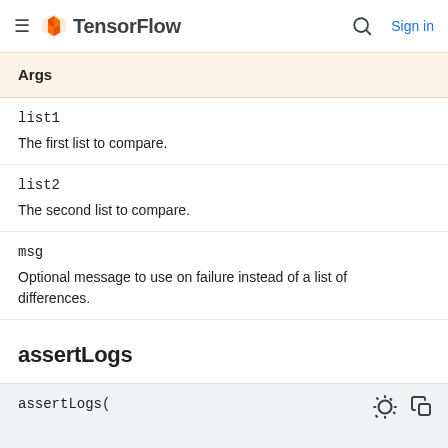TensorFlow — Sign in
Args
list1
The first list to compare.
list2
The second list to compare.
msg
Optional message to use on failure instead of a list of differences.
assertLogs
assertLogs(